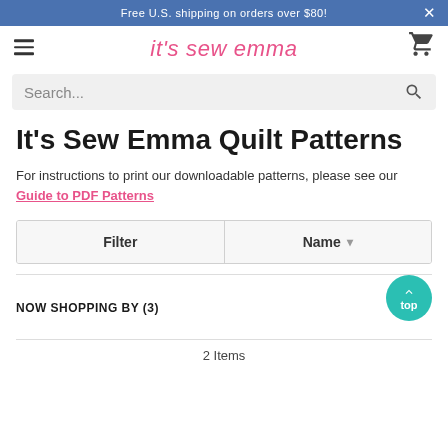Free U.S. shipping on orders over $80!
it's sew emma
Search...
It's Sew Emma Quilt Patterns
For instructions to print our downloadable patterns, please see our Guide to PDF Patterns
| Filter | Name |
| --- | --- |
NOW SHOPPING BY (3)
2 Items